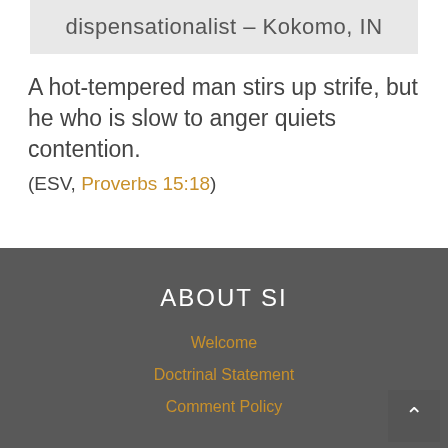[Figure (photo): Partially visible image banner showing text 'dispensationalist – Kokomo, IN' on a light gray background]
A hot-tempered man stirs up strife, but he who is slow to anger quiets contention.
(ESV, Proverbs 15:18)
ABOUT SI
Welcome
Doctrinal Statement
Comment Policy